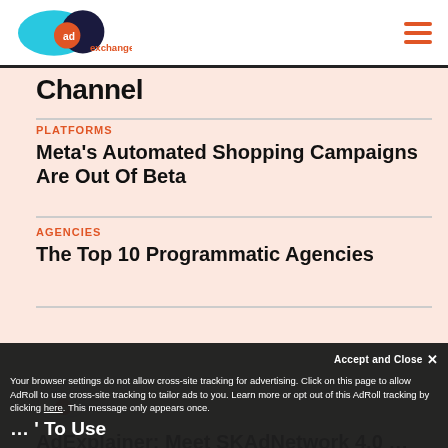[Figure (logo): AdExchanger logo with cyan and dark blue overlapping circles and orange 'ad' text]
Channel
PLATFORMS
Meta's Automated Shopping Campaigns Are Out Of Beta
AGENCIES
The Top 10 Programmatic Agencies
[Figure (logo): AdExplainer logo - small version]
AdExplainer: Meet SKAdNetwork 4.0 … To Use
Your browser settings do not allow cross-site tracking for advertising. Click on this page to allow AdRoll to use cross-site tracking to tailor ads to you. Learn more or opt out of this AdRoll tracking by clicking here. This message only appears once.